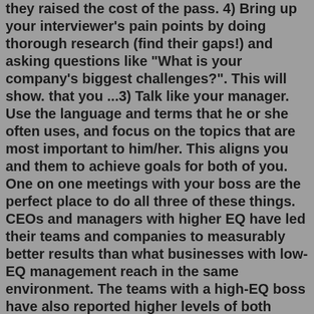they raised the cost of the pass. 4) Bring up your interviewer's pain points by doing thorough research (find their gaps!) and asking questions like "What is your company's biggest challenges?". This will show. that you ...3) Talk like your manager. Use the language and terms that he or she often uses, and focus on the topics that are most important to him/her. This aligns you and them to achieve goals for both of you. One on one meetings with your boss are the perfect place to do all three of these things. CEOs and managers with higher EQ have led their teams and companies to measurably better results than what businesses with low-EQ management reach in the same environment. The teams with a high-EQ boss have also reported higher levels of both motivation and productivity. For a quick EQ check, here are the questions to ask your potential manager: subscribed tien tzuojudge bookmichener'ss e hinton books